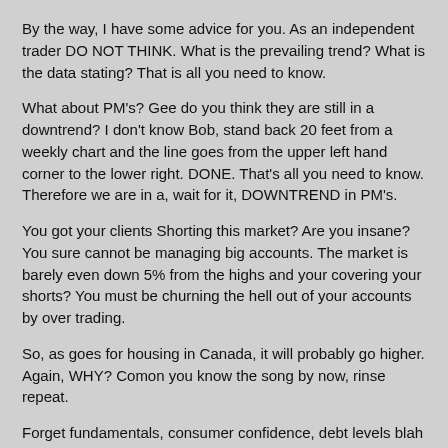By the way, I have some advice for you. As an independent trader DO NOT THINK. What is the prevailing trend? What is the data stating? That is all you need to know.
What about PM's? Gee do you think they are still in a downtrend? I don't know Bob, stand back 20 feet from a weekly chart and the line goes from the upper left hand corner to the lower right. DONE. That's all you need to know. Therefore we are in a, wait for it, DOWNTREND in PM's.
You got your clients Shorting this market? Are you insane? You sure cannot be managing big accounts. The market is barely even down 5% from the highs and your covering your shorts? You must be churning the hell out of your accounts by over trading.
So, as goes for housing in Canada, it will probably go higher. Again, WHY? Comon you know the song by now, rinse repeat.
Forget fundamentals, consumer confidence, debt levels blah blah blah blah blah. I have heard it ALL. All of it, “This cannot be because of …” or “That cannot be because of…” or “This is happening because of…”
I have news for you. Its all CRAP. All of it, And anyone telling you why a market is doing X is a Charlatan. All you need to know is that what is the